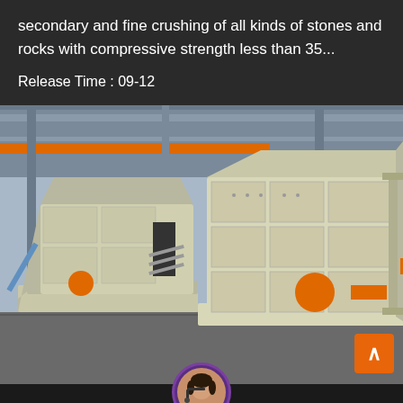secondary and fine crushing of all kinds of stones and rocks with compressive strength less than 35…
Release Time : 09-12
[Figure (photo): Two large industrial impact crusher machines in a factory/warehouse setting. The machines are white/cream colored with orange accent components. Left machine is smaller, right machine is larger with visible side panels and bolted plates.]
Leave Message
Chat Online